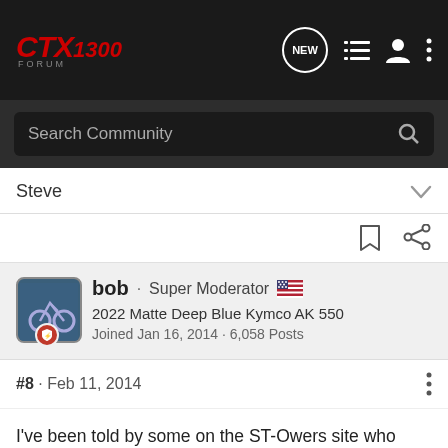CTX 1300 Forum — navigation bar with logo, NEW, list, user, and menu icons
Search Community
Steve
bob · Super Moderator
2022 Matte Deep Blue Kymco AK 550
Joined Jan 16, 2014 · 6,058 Posts
#8 · Feb 11, 2014
I've been told by some on the ST-Owers site who have visited the MC shows that the latch on these paniers is the same as the latch on the Hondaline top case for the ST1300. No one over the [redacted] n that latch so [redacted]